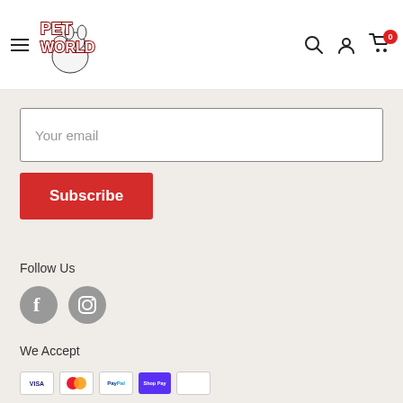[Figure (logo): Pet World logo with cartoon pets]
Your email
Subscribe
Follow Us
[Figure (infographic): Facebook and Instagram social media icons]
We Accept
[Figure (infographic): Payment method icons: Visa, Mastercard, PayPal, Shop Pay, and another card]